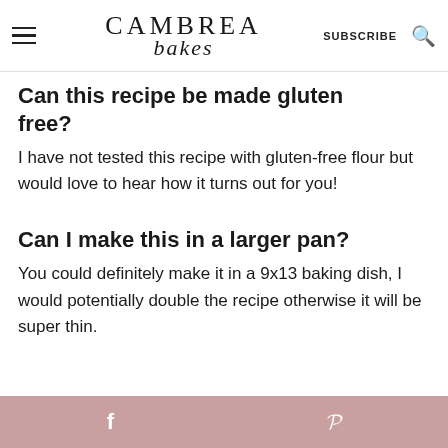CAMBREA bakes — SUBSCRIBE
Can this recipe be made gluten free?
I have not tested this recipe with gluten-free flour but would love to hear how it turns out for you!
Can I make this in a larger pan?
You could definitely make it in a 9x13 baking dish, I would potentially double the recipe otherwise it will be super thin.
f  p